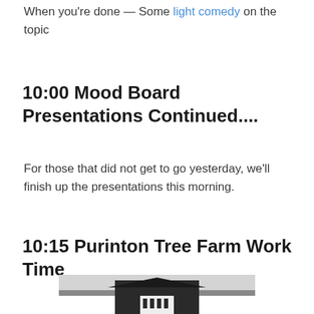When you're done — Some light comedy on the topic
10:00 Mood Board Presentations Continued....
For those that did not get to go yesterday, we'll finish up the presentations this morning.
10:15 Purinton Tree Farm Work Time
[Figure (photo): Black and white photo of a barn building with trees and snow in the background]